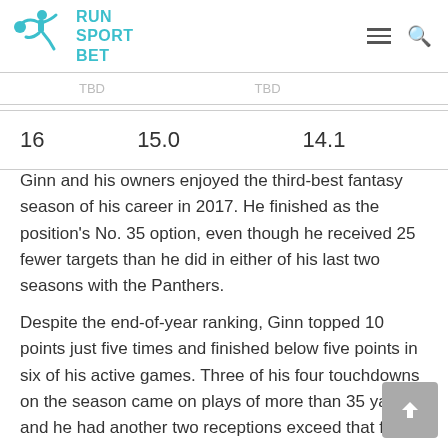RUN SPORT BET
|  | TBD | TBD |
| 16 | 15.0 | 14.1 |
Ginn and his owners enjoyed the third-best fantasy season of his career in 2017. He finished as the position's No. 35 option, even though he received 25 fewer targets than he did in either of his last two seasons with the Panthers.
Despite the end-of-year ranking, Ginn topped 10 points just five times and finished below five points in six of his active games. Three of his four touchdowns on the season came on plays of more than 35 yards, and he had another two receptions exceed that figure.